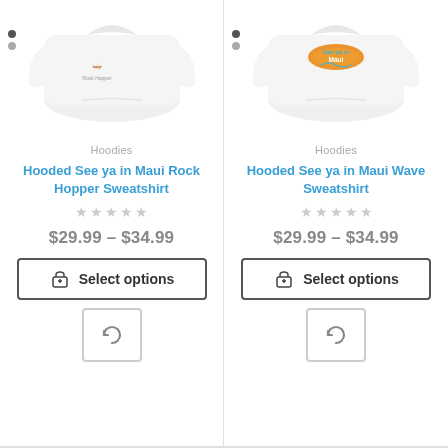[Figure (photo): White hooded sweatshirt with Rock Hopper kayaking graphic on chest]
Hoodies
Hooded See ya in Maui Rock Hopper Sweatshirt
$29.99 – $34.99
Select options
[Figure (photo): White hooded sweatshirt with Maui Wave surfboard logo graphic on chest]
Hoodies
Hooded See ya in Maui Wave Sweatshirt
$29.99 – $34.99
Select options